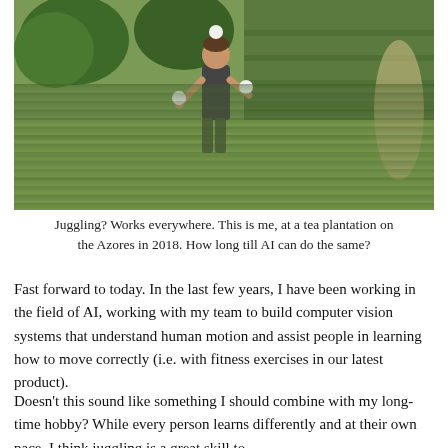[Figure (photo): A man juggling balls outdoors at a tea plantation with lush green terraced fields in the background, Azores 2018.]
Juggling? Works everywhere. This is me, at a tea plantation on the Azores in 2018. How long till AI can do the same?
Fast forward to today. In the last few years, I have been working in the field of AI, working with my team to build computer vision systems that understand human motion and assist people in learning how to move correctly (i.e. with fitness exercises in our latest product).
Doesn't this sound like something I should combine with my long-time hobby? While every person learns differently and at their own pace, I think juggling is a great skill to